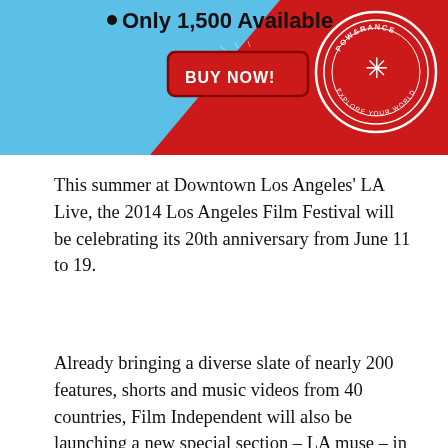[Figure (infographic): A promotional banner with blue and red diagonal background, text '• Only 1,500 Available', a red 'BUY NOW!' button, and a circular badge/logo on the right.]
This summer at Downtown Los Angeles' LA Live, the 2014 Los Angeles Film Festival will be celebrating its 20th anniversary from June 11 to 19.
Already bringing a diverse slate of nearly 200 features, shorts and music videos from 40 countries, Film Independent will also be launching a new special section – LA muse – in this year's celebration.